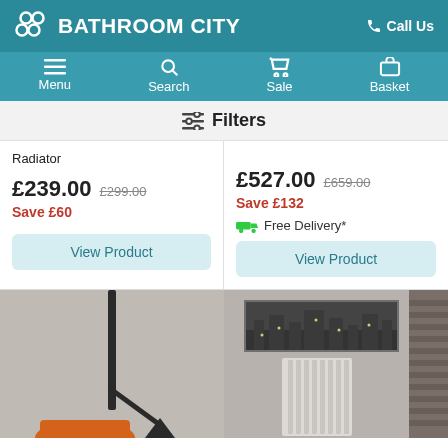BATHROOM CITY — Call Us
Menu | Search | Sale | Basket
Filters
Radiator
£239.00 £299.00
Save £60
View Product
£527.00 £659.00
Save £132
Free Delivery*
View Product
[Figure (photo): Dark thin floor lamp/radiator against grey wall with orange chair]
[Figure (photo): White vertical radiator below city panoramic artwork on grey wall]